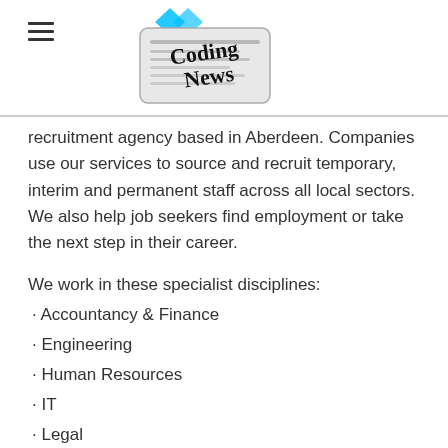Coding News
recruitment agency based in Aberdeen. Companies use our services to source and recruit temporary, interim and permanent staff across all local sectors. We also help job seekers find employment or take the next step in their career.
We work in these specialist disciplines:
· Accountancy & Finance
· Engineering
· Human Resources
· IT
· Legal